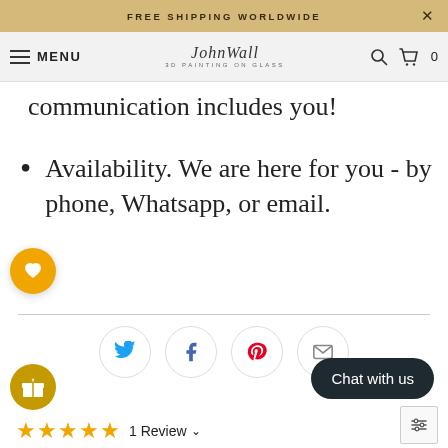FREE SHIPPING WORLDWIDE
MENU — JohnWall 3D PAINTING ON GLASS
communication includes you!
Availability. We are here for you - by phone, Whatsapp, or email.
[Figure (infographic): Social share icons row: Twitter (blue bird), Facebook (blue f), Pinterest (red P), Email (envelope). Each in a circular border. Below: gift icon button (gold circle) on left, Chat with us button (dark rounded pill) on right.]
1 Review